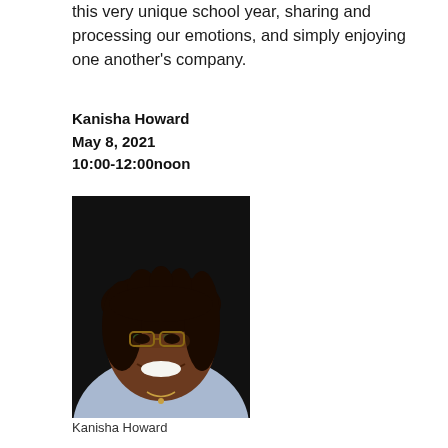this very unique school year, sharing and processing our emotions, and simply enjoying one another's company.
Kanisha Howard
May 8, 2021
10:00-12:00noon
[Figure (photo): Portrait photo of Kanisha Howard, a woman smiling, wearing glasses and a light blue top, against a dark background.]
Kanisha Howard